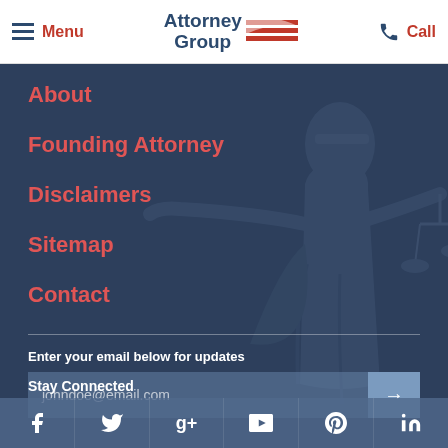Menu | Attorney Group | Call
About
Founding Attorney
Disclaimers
Sitemap
Contact
Enter your email below for updates
johndoe@email.com
Stay Connected
[Figure (screenshot): Social media icons row: Facebook, Twitter, Google+, YouTube, Pinterest, LinkedIn]